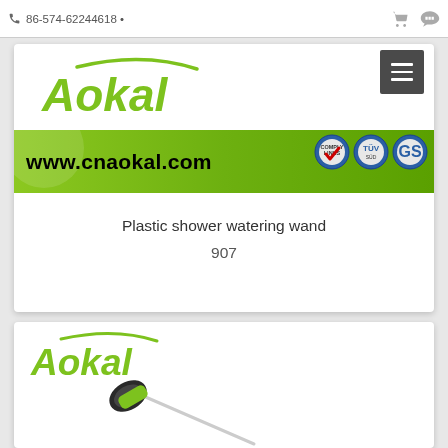86-574-62244618 •
[Figure (logo): Aokal green italic logo with swoosh]
[Figure (screenshot): Green banner with www.cnaokal.com and certification badges (TUV, GS, checkmark)]
Plastic shower watering wand
907
[Figure (logo): Aokal green italic logo with swoosh (second card)]
[Figure (photo): Green plastic watering wand with black nozzle head]